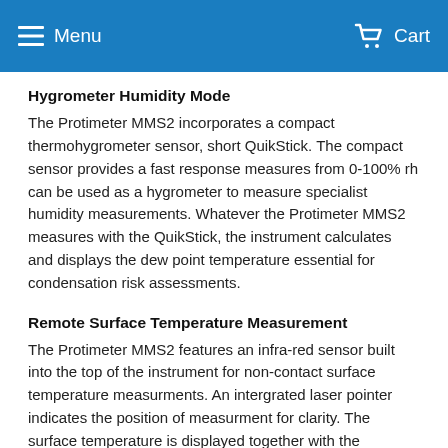Menu  Cart
Hygrometer Humidity Mode
The Protimeter MMS2 incorporates a compact thermohygrometer sensor, short QuikStick. The compact sensor provides a fast response measures from 0-100% rh can be used as a hygrometer to measure specialist humidity measurements. Whatever the Protimeter MMS2 measures with the QuikStick, the instrument calculates and displays the dew point temperature essential for condensation risk assessments.
Remote Surface Temperature Measurement
The Protimeter MMS2 features an infra-red sensor built into the top of the instrument for non-contact surface temperature measurments. An intergrated laser pointer indicates the position of measurment for clarity. The surface temperature is displayed together with the prevailing dew